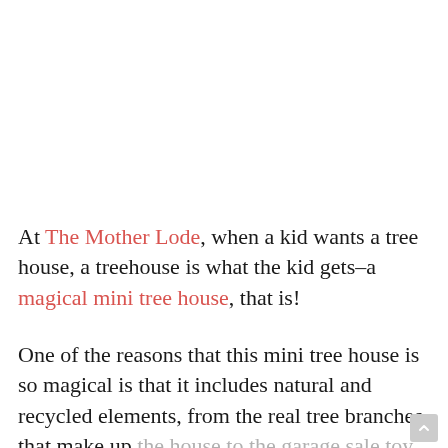At The Mother Lode, when a kid wants a tree house, a treehouse is what the kid gets–a magical mini tree house, that is!
One of the reasons that this mini tree house is so magical is that it includes natural and recycled elements, from the real tree branches that make up the house to the garage sale toy fence and the doll's hammock made from a mesh produce bag.